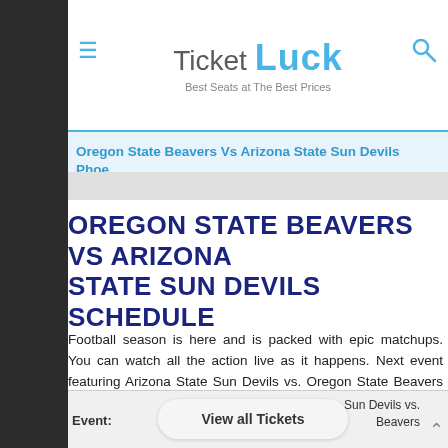Ticket Luck — Best Seats at The Best Prices
Oregon State Beavers Vs Arizona State Sun Devils Phoe...
OREGON STATE BEAVERS VS ARIZONA STATE SUN DEVILS SCHEDULE
Football season is here and is packed with epic matchups. You can watch all the action live as it happens. Next event featuring Arizona State Sun Devils vs. Oregon State Beavers will be held at the Sun Devil Stadium in Phoenix. . For complete itinerary of events, please visit our website.
Event: View all Tickets Sun Devils vs. Beavers